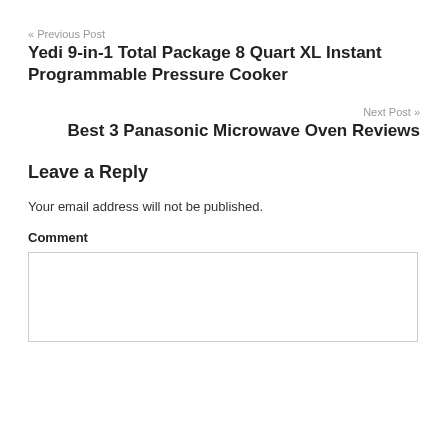« Previous Post
Yedi 9-in-1 Total Package 8 Quart XL Instant Programmable Pressure Cooker
Next Post »
Best 3 Panasonic Microwave Oven Reviews
Leave a Reply
Your email address will not be published.
Comment